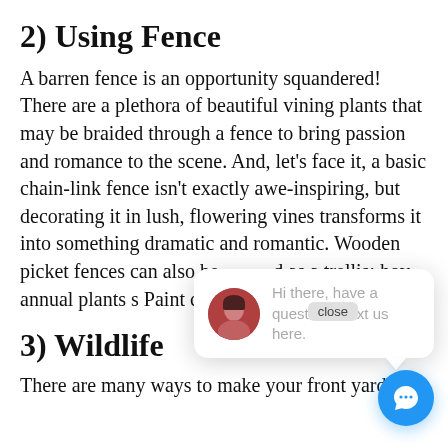2) Using Fence
A barren fence is an opportunity squandered! There are a plethora of beautiful vining plants that may be braided through a fence to bring passion and romance to the scene. And, let's face it, a basic chain-link fence isn't exactly awe-inspiring, but decorating it in lush, flowering vines transforms it into something dramatic and romantic. Wooden picket fences can also be used as a trellis; however, annual plants should be... Paint can be changed... repainting a fe...
3) Wildlife
There are many ways to make your front yard